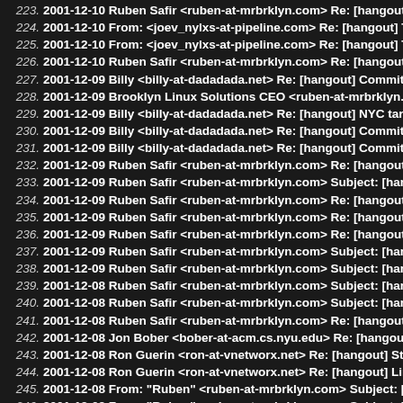223. 2001-12-10 Ruben Safir <ruben-at-mrbrklyn.com> Re: [hangout] Tulip
224. 2001-12-10 From: <joev_nylxs-at-pipeline.com> Re: [hangout] Tulip
225. 2001-12-10 From: <joev_nylxs-at-pipeline.com> Re: [hangout] Tulip
226. 2001-12-10 Ruben Safir <ruben-at-mrbrklyn.com> Re: [hangout] Con
227. 2001-12-09 Billy <billy-at-dadadada.net> Re: [hangout] Committee on
228. 2001-12-09 Brooklyn Linux Solutions CEO <ruben-at-mrbrklyn.com>
229. 2001-12-09 Billy <billy-at-dadadada.net> Re: [hangout] NYC targeted
230. 2001-12-09 Billy <billy-at-dadadada.net> Re: [hangout] Committee on
231. 2001-12-09 Billy <billy-at-dadadada.net> Re: [hangout] Committee on
232. 2001-12-09 Ruben Safir <ruben-at-mrbrklyn.com> Re: [hangout] Con
233. 2001-12-09 Ruben Safir <ruben-at-mrbrklyn.com> Subject: [hangout]
234. 2001-12-09 Ruben Safir <ruben-at-mrbrklyn.com> Re: [hangout] Linu
235. 2001-12-09 Ruben Safir <ruben-at-mrbrklyn.com> Re: [hangout] Oh
236. 2001-12-09 Ruben Safir <ruben-at-mrbrklyn.com> Re: [hangout] Linu
237. 2001-12-09 Ruben Safir <ruben-at-mrbrklyn.com> Subject: [hangout]
238. 2001-12-09 Ruben Safir <ruben-at-mrbrklyn.com> Subject: [hangout]
239. 2001-12-08 Ruben Safir <ruben-at-mrbrklyn.com> Subject: [hangout]
240. 2001-12-08 Ruben Safir <ruben-at-mrbrklyn.com> Subject: [hangout]
241. 2001-12-08 Ruben Safir <ruben-at-mrbrklyn.com> Re: [hangout] Linu
242. 2001-12-08 Jon Bober <bober-at-acm.cs.nyu.edu> Re: [hangout] Lin
243. 2001-12-08 Ron Guerin <ron-at-vnetworx.net> Re: [hangout] Stallma
244. 2001-12-08 Ron Guerin <ron-at-vnetworx.net> Re: [hangout] Linux W
245. 2001-12-08 From: "Ruben" <ruben-at-mrbrklyn.com> Subject: [hango
246. 2001-12-08 From: "Ruben" <ruben-at-mrbrklyn.com> Subject: [hango
247. 2001-12-08 From: "Ruben" <ruben-at-mrbrklyn.com> Subject: [hango